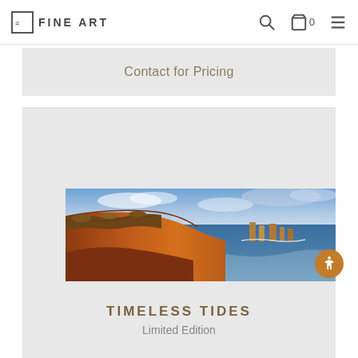FINE ART
Contact for Pricing
[Figure (photo): Panoramic coastal landscape photograph showing orange-red cliffs with sparse scrubby vegetation in the foreground, the Twelve Apostles rock formations rising from the ocean in the background under a partly cloudy sky]
TIMELESS TIDES
Limited Edition